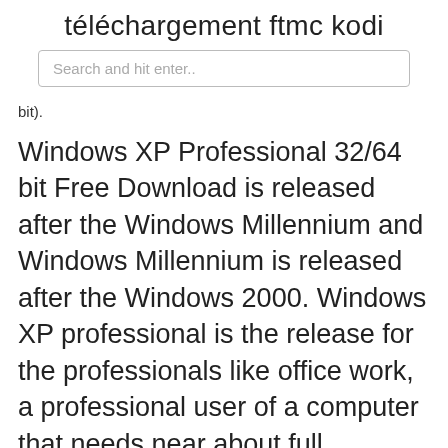téléchargement ftmc kodi
[Figure (screenshot): Search input box with placeholder text 'Search and hit enter..']
bit).
Windows XP Professional 32/64 bit Free Download is released after the Windows Millennium and Windows Millennium is released after the Windows 2000. Windows XP professional is the release for the professionals like office work, a professional user of a computer that needs near about full functionality of the windows XP professional features.